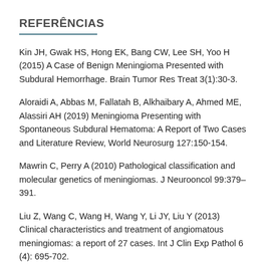REFERÊNCIAS
Kin JH, Gwak HS, Hong EK, Bang CW, Lee SH, Yoo H (2015) A Case of Benign Meningioma Presented with Subdural Hemorrhage. Brain Tumor Res Treat 3(1):30-3.
Aloraidi A, Abbas M, Fallatah B, Alkhaibary A, Ahmed ME, Alassiri AH (2019) Meningioma Presenting with Spontaneous Subdural Hematoma: A Report of Two Cases and Literature Review, World Neurosurg 127:150-154.
Mawrin C, Perry A (2010) Pathological classification and molecular genetics of meningiomas. J Neurooncol 99:379–391.
Liu Z, Wang C, Wang H, Wang Y, Li JY, Liu Y (2013) Clinical characteristics and treatment of angiomatous meningiomas: a report of 27 cases. Int J Clin Exp Pathol 6 (4): 695-702.